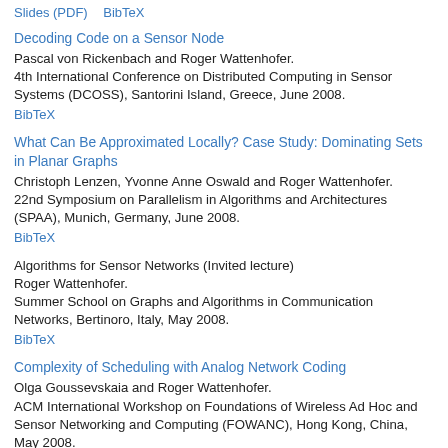Slides (PDF)    BibTeX
Decoding Code on a Sensor Node
Pascal von Rickenbach and Roger Wattenhofer.
4th International Conference on Distributed Computing in Sensor Systems (DCOSS), Santorini Island, Greece, June 2008.
BibTeX
What Can Be Approximated Locally? Case Study: Dominating Sets in Planar Graphs
Christoph Lenzen, Yvonne Anne Oswald and Roger Wattenhofer.
22nd Symposium on Parallelism in Algorithms and Architectures (SPAA), Munich, Germany, June 2008.
BibTeX
Algorithms for Sensor Networks (Invited lecture)
Roger Wattenhofer.
Summer School on Graphs and Algorithms in Communication Networks, Bertinoro, Italy, May 2008.
BibTeX
Complexity of Scheduling with Analog Network Coding
Olga Goussevskaia and Roger Wattenhofer.
ACM International Workshop on Foundations of Wireless Ad Hoc and Sensor Networking and Computing (FOWANC), Hong Kong, China, May 2008.
BibTeX
Symmetric Clock Synchronization in Sensor Networks
Philipp Sommer and Roger Wattenhofer.